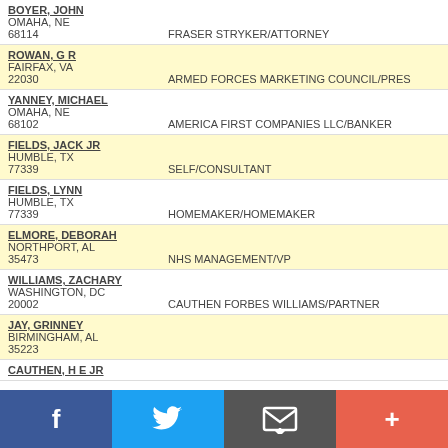BOYER, JOHN
OMAHA, NE
68114	FRASER STRYKER/ATTORNEY
ROWAN, G R
FAIRFAX, VA
22030	ARMED FORCES MARKETING COUNCIL/PRES
YANNEY, MICHAEL
OMAHA, NE
68102	AMERICA FIRST COMPANIES LLC/BANKER
FIELDS, JACK JR
HUMBLE, TX
77339	SELF/CONSULTANT
FIELDS, LYNN
HUMBLE, TX
77339	HOMEMAKER/HOMEMAKER
ELMORE, DEBORAH
NORTHPORT, AL
35473	NHS MANAGEMENT/VP
WILLIAMS, ZACHARY
WASHINGTON, DC
20002	CAUTHEN FORBES WILLIAMS/PARTNER
JAY, GRINNEY
BIRMINGHAM, AL
35223
CAUTHEN, H E JR